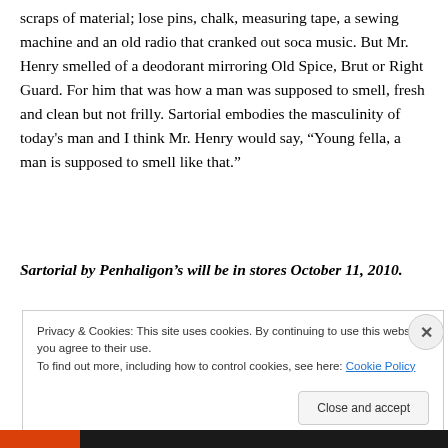scraps of material; lose pins, chalk, measuring tape, a sewing machine and an old radio that cranked out soca music. But Mr. Henry smelled of a deodorant mirroring Old Spice, Brut or Right Guard. For him that was how a man was supposed to smell, fresh and clean but not frilly. Sartorial embodies the masculinity of today's man and I think Mr. Henry would say, “Young fella, a man is supposed to smell like that.”
Sartorial by Penhaligon’s will be in stores October 11, 2010.
Privacy & Cookies: This site uses cookies. By continuing to use this website, you agree to their use.
To find out more, including how to control cookies, see here: Cookie Policy